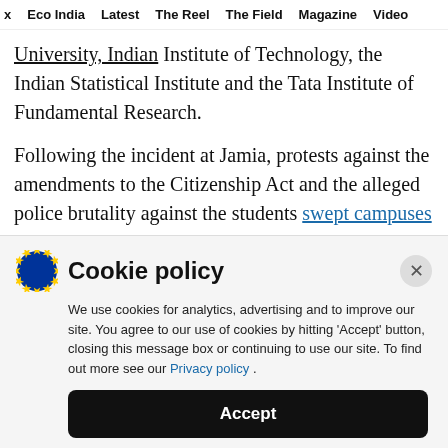x  Eco India  Latest  The Reel  The Field  Magazine  Video
University, Indian Institute of Technology, the Indian Statistical Institute and the Tata Institute of Fundamental Research.
Following the incident at Jamia, protests against the amendments to the Citizenship Act and the alleged police brutality against the students swept campuses across India on Monday and Tuesday.
Cookie policy
We use cookies for analytics, advertising and to improve our site. You agree to our use of cookies by hitting 'Accept' button, closing this message box or continuing to use our site. To find out more see our Privacy policy .
Accept